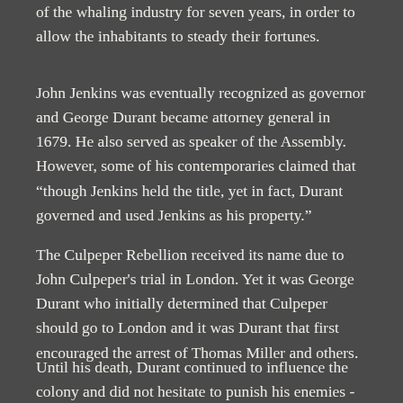of the whaling industry for seven years, in order to allow the inhabitants to steady their fortunes.
John Jenkins was eventually recognized as governor and George Durant became attorney general in 1679. He also served as speaker of the Assembly. However, some of his contemporaries claimed that "though Jenkins held the title, yet in fact, Durant governed and used Jenkins as his property."
The Culpeper Rebellion received its name due to John Culpeper's trial in London. Yet it was George Durant who initially determined that Culpeper should go to London and it was Durant that first encouraged the arrest of Thomas Miller and others.
Until his death, Durant continued to influence the colony and did not hesitate to punish his enemies - particularly the Old Neck Quakers who had supported the British.